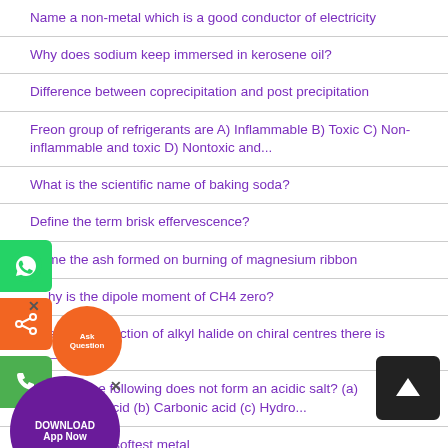Name a non-metal which is a good conductor of electricity
Why does sodium keep immersed in kerosene oil?
Difference between coprecipitation and post precipitation
Freon group of refrigerants are A) Inflammable B) Toxic C) Non-inflammable and toxic D) Nontoxic and...
What is the scientific name of baking soda?
Define the term brisk effervescence?
Name the ash formed on burning of magnesium ribbon
hy is the dipole moment of CH4 zero?
an S N1 reaction of alkyl halide on chiral centres there is ______
of the following does not form an acidic salt? (a) horic acid (b) Carbonic acid (c) Hydro...
ne the softest metal
of the following is most elastic? a) Steel b) Rubber c) Glass ge
two important uses of washing soda and baking soda.
What is the formula of rectified spirit?